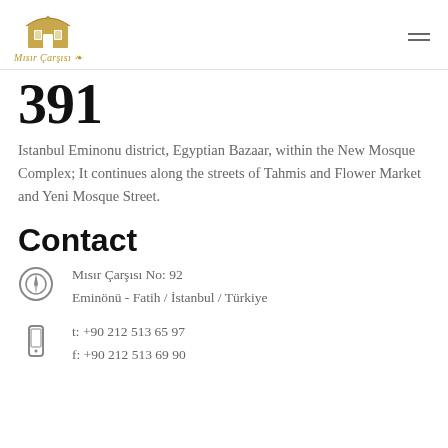Mısır Çarşısı logo and navigation
391
Istanbul Eminonu district, Egyptian Bazaar, within the New Mosque Complex; It continues along the streets of Tahmis and Flower Market and Yeni Mosque Street.
Contact
Mısır Çarşısı No: 92
Eminönü - Fatih / İstanbul / Türkiye
t: +90 212 513 65 97
f: +90 212 513 69 90